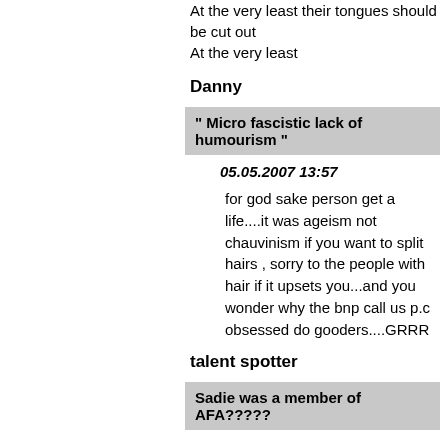At the very least their tongues should be cut out
At the very least
Danny
" Micro fascistic lack of humourism "
05.05.2007 13:57
for god sake person get a life....it was ageism not chauvinism if you want to split hairs , sorry to the people with hair if it upsets you...and you wonder why the bnp call us p.c obsessed do gooders....GRRR
talent spotter
Sadie was a member of AFA?????